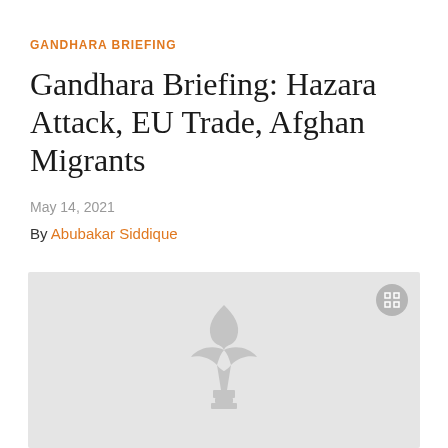GANDHARA BRIEFING
Gandhara Briefing: Hazara Attack, EU Trade, Afghan Migrants
May 14, 2021
By Abubakar Siddique
[Figure (illustration): Gray placeholder media area with RFE/RL torch-and-quill watermark logo in center and expand icon in top-right corner]